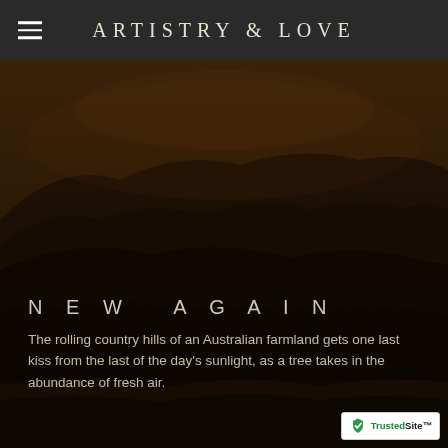ARTISTRY & LOVE
[Figure (photo): Dark moody landscape of rolling Australian country hills at dusk with silhouetted trees and mountains, warm amber-brown tones of last sunlight]
NEW AGAIN
The rolling country hills of an Australian farmland gets one last kiss from the last of the day's sunlight, as a tree takes in the abundance of fresh air.